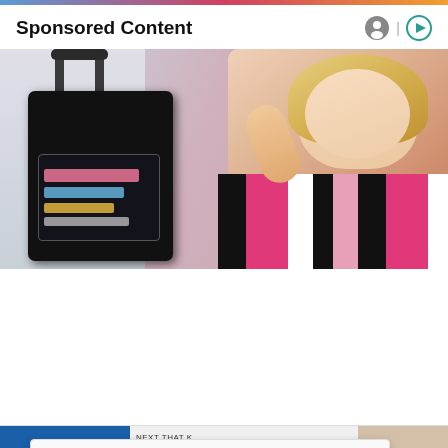Sponsored Content
[Figure (photo): A smiling blonde woman in a pink and black striped top posing with a black rolling suitcase that has a clear front pocket containing toiletries and travel items.]
Privacy & Cookies: This site uses cookies. By continuing to use this website, you agree to their use.
To find out more, including how to control cookies, see here: Cookie Policy
Close and accept